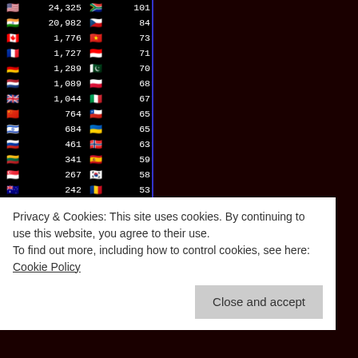| Flag | Count | Flag | Count |
| --- | --- | --- | --- |
| 🇺🇸 | 24,325 | 🇿🇦 | 101 |
| 🇮🇳 | 20,982 | 🇨🇿 | 84 |
| 🇨🇦 | 1,776 | 🇻🇳 | 73 |
| 🇫🇷 | 1,727 | 🇮🇩 | 71 |
| 🇩🇪 | 1,289 | 🇵🇰 | 70 |
| 🇳🇱 | 1,089 | 🇵🇱 | 68 |
| 🇬🇧 | 1,044 | 🇮🇹 | 67 |
| 🇨🇳 | 764 | 🇨🇱 | 65 |
| 🇮🇱 | 684 | 🇺🇦 | 65 |
| 🇷🇺 | 461 | 🇳🇴 | 63 |
| 🇱🇹 | 341 | 🇪🇸 | 59 |
| 🇸🇬 | 267 | 🇰🇷 | 58 |
| 🇦🇺 | 242 | 🇷🇴 | 53 |
| 🇮🇪 | 227 | 🇧🇭 | 50 |
| 🇦🇪 | 201 | 🇦🇹 | 48 |
| 🇧🇷 | 199 | 🇦🇹 | 45 |
| 🇸🇦 | 183 | 🇲🇽 | 38 |
| 🇸🇪 | 164 | 🇱🇰 | 38 |
| 🇵🇭 | 160 | 🇯🇵 | 35 |
| 🇫🇮 | 155 | 🇦🇺 | 35 |
| 🇲🇻 | 141 | 🇦🇷 | 34 |
Privacy & Cookies: This site uses cookies. By continuing to use this website, you agree to their use.
To find out more, including how to control cookies, see here: Cookie Policy